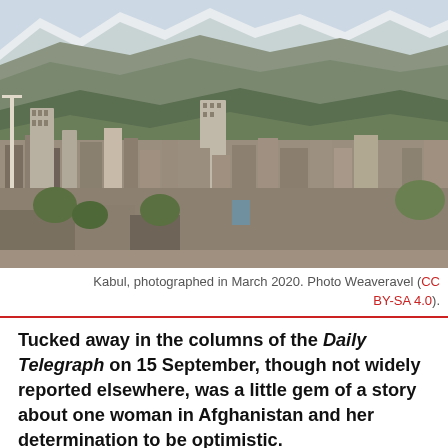[Figure (photo): Aerial/elevated view of Kabul city with dense urban buildings, mountains in the background with snow-capped peaks, photographed in March 2020.]
Kabul, photographed in March 2020. Photo Weaveravel (CC BY-SA 4.0).
Tucked away in the columns of the Daily Telegraph on 15 September, though not widely reported elsewhere, was a little gem of a story about one woman in Afghanistan and her determination to be optimistic.